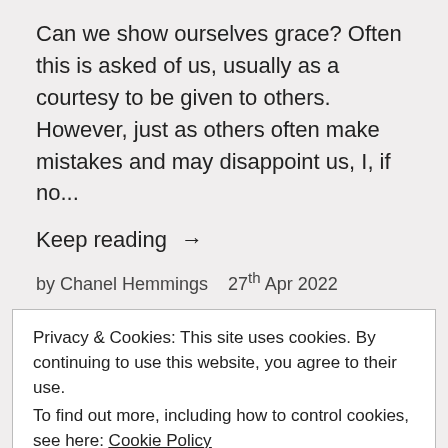Can we show ourselves grace? Often this is asked of us, usually as a courtesy to be given to others. However, just as others often make mistakes and may disappoint us, I, if no...
Keep reading →
by Chanel Hemmings   27th Apr 2022
Privacy & Cookies: This site uses cookies. By continuing to use this website, you agree to their use.
To find out more, including how to control cookies, see here: Cookie Policy
Close and accept
and impactful this attribute is. I don't know